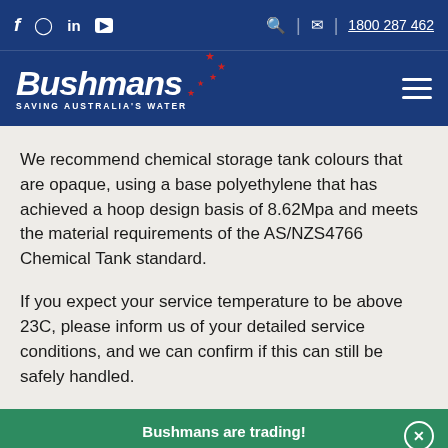1800 287 462
[Figure (logo): Bushmans logo with text 'SAVING AUSTRALIA'S WATER' and star cluster]
We recommend chemical storage tank colours that are opaque, using a base polyethylene that has achieved a hoop design basis of 8.62Mpa and meets the material requirements of the AS/NZS4766 Chemical Tank standard.
If you expect your service temperature to be above 23C, please inform us of your detailed service conditions, and we can confirm if this can still be safely handled.
Bushmans are trading! Additional safety and hygiene measures have been implemented. Read more here!